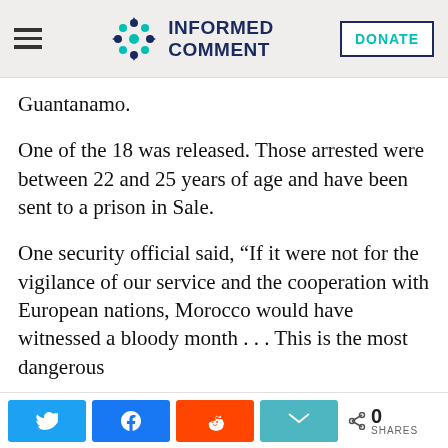INFORMED COMMENT
Guantanamo.
One of the 18 was released. Those arrested were between 22 and 25 years of age and have been sent to a prison in Sale.
One security official said, “If it were not for the vigilance of our service and the cooperation with European nations, Morocco would have witnessed a bloody month . . . This is the most dangerous
Social share buttons: Twitter, Facebook, Reddit, Email | 0 SHARES